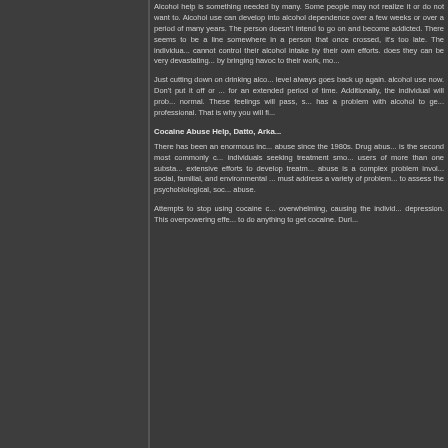Alcohol help is something needed by many. Some people may not realize it or do not want to. Alcohol use can develop into alcohol dependence over a few weeks or over a period of many years. The person doesn't intend to go on and become addicted. There seems to be a line somewhere in a person that once crossed, it's too late. The individual cannot control their alcohol intake by their own efforts. The damage it does they can be very devastating to the individual by bringing havoc to their work, mo...
Just cutting down on drinking alcohol fails as the level always goes back up again. You need to stop alcohol use now. Don't put it off or reduce drinking for an extended period of time. Additionally, the individual will probably not feel normal. These feelings will pass, so anyone who has a problem with alcohol to get treatment from a professional. That is why you will fi...
Cocaine Abuse Help, Datto, Arka...
There has been an enormous increase in cocaine abuse since the 1980s. Drug abuse cocaine is the second most commonly cited drug among individuals seeking treatment smoking. Many are users of more than one substance. There are extensive efforts to develop treatments for cocaine abuse is a complex problem involving biological, social, familial, and environmental factors, treatment must address a variety of problems. In order to assess the psychobiological, soc... abuse.
Attempts to stop using cocaine can be overwhelming, causing the individual severe depression. This overpowering effect can cause to do anything to get cocaine. Duri...